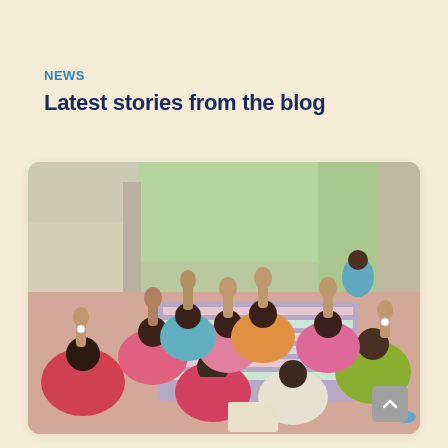NEWS
Latest stories from the blog
[Figure (photo): Group of women in colorful sarees (pink, teal, yellow-green) seated in a circle on patterned mats on the floor of a simple room, raising their fists in the air in a show of solidarity or voting. A child stands in the background near a doorway with trees visible outside.]